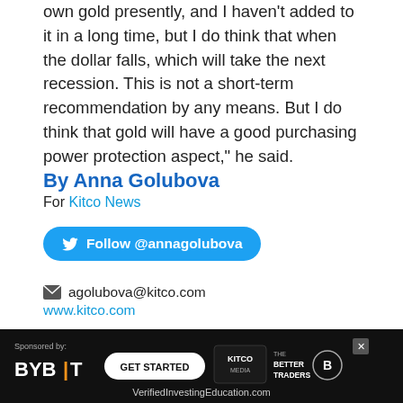own gold presently, and I haven't added to it in a long time, but I do think that when the dollar falls, which will take the next recession. This is not a short-term recommendation by any means. But I do think that gold will have a good purchasing power protection aspect," he said.
By Anna Golubova
For Kitco News
Follow @annagolubova
agolubova@kitco.com
www.kitco.com
Search For
Top Commodity
Best Commodity
[Figure (screenshot): Advertisement banner: Sponsored by BYBIT - GET STARTED - Kitco Media - The Better Traders - VerifiedInvestingEducation.com]